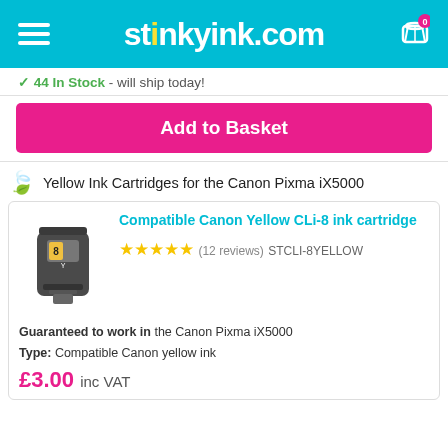stinkyink.com
44 In Stock - will ship today!
Add to Basket
Yellow Ink Cartridges for the Canon Pixma iX5000
[Figure (photo): Yellow Canon CLi-8 ink cartridge product photo]
Compatible Canon Yellow CLi-8 ink cartridge
(12 reviews) STCLI-8YELLOW
Guaranteed to work in the Canon Pixma iX5000
Type: Compatible Canon yellow ink
£3.00 inc VAT